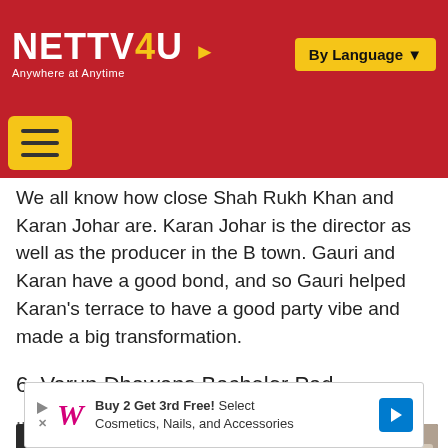NETTV4U — Anywhere at Anytime | By Language
We all know how close Shah Rukh Khan and Karan Johar are. Karan Johar is the director as well as the producer in the B town. Gauri and Karan have a good bond, and so Gauri helped Karan's terrace to have a good party vibe and made a big transformation.
6. Varun Dhawans Bachelor Pad
...
[Figure (photo): Photo collage showing a young man on the left side and a woman in a black dress on the right side.]
Buy 2 Get 3rd Free! Select Cosmetics, Nails, and Accessories